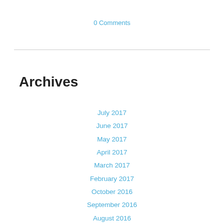0 Comments
Archives
July 2017
June 2017
May 2017
April 2017
March 2017
February 2017
October 2016
September 2016
August 2016
June 2016
April 2016
March 2016
February 2016